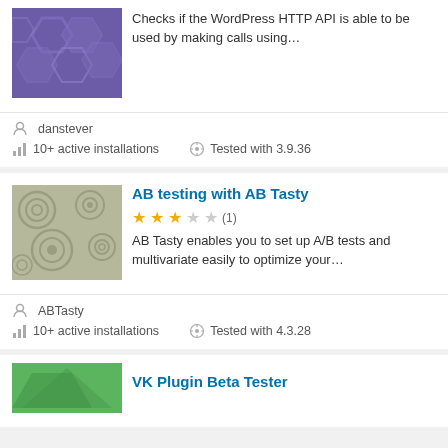[Figure (illustration): Purple hexagon pattern plugin thumbnail (partially visible at top)]
Checks if the WordPress HTTP API is able to be used by making calls using…
danstever
10+ active installations
Tested with 3.9.36
[Figure (illustration): Grey-green circle/target pattern plugin thumbnail for AB testing with AB Tasty]
AB testing with AB Tasty
(1) — 2.5 stars
AB Tasty enables you to set up A/B tests and multivariate easily to optimize your…
ABTasty
10+ active installations
Tested with 4.3.28
[Figure (illustration): Green plugin thumbnail for VK Plugin Beta Tester (partially visible at bottom)]
VK Plugin Beta Tester